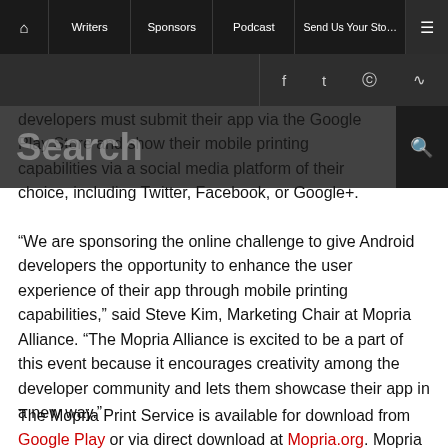Home | Writers | Sponsors | Podcast | Send Us Your Story | Menu
Social icons: Facebook, Twitter, Instagram, RSS
developers must submit their app via the Google Play Store and show their mobile printing capabilities via a social media platform of their choice, including Twitter, Facebook, or Google+.
“We are sponsoring the online challenge to give Android developers the opportunity to enhance the user experience of their app through mobile printing capabilities,” said Steve Kim, Marketing Chair at Mopria Alliance. “The Mopria Alliance is excited to be a part of this event because it encourages creativity among the developer community and lets them showcase their app in a new way.”
The Mopria Print Service is available for download from Google Play or via direct download at Mopria.org. Mopria technology